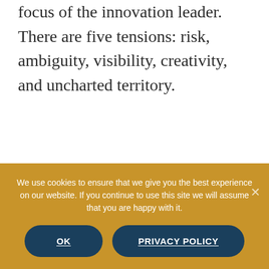focus of the innovation leader. There are five tensions: risk, ambiguity, visibility, creativity, and uncharted territory.
[11:22] What is the risk tension? Innovation is all risk. You either
We use cookies to ensure that we give you the best experience on our website. If you continue to use this site we will assume that you are happy with it.